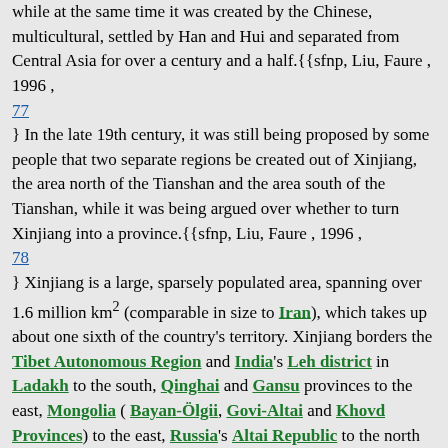while at the same time it was created by the Chinese, multicultural, settled by Han and Hui and separated from Central Asia for over a century and a half.{{sfnp, Liu, Faure , 1996 , 77 } In the late 19th century, it was still being proposed by some people that two separate regions be created out of Xinjiang, the area north of the Tianshan and the area south of the Tianshan, while it was being argued over whether to turn Xinjiang into a province.{{sfnp, Liu, Faure , 1996 , 78 } Xinjiang is a large, sparsely populated area, spanning over 1.6 million km² (comparable in size to Iran), which takes up about one sixth of the country's territory. Xinjiang borders the Tibet Autonomous Region and India's Leh district in Ladakh to the south, Qinghai and Gansu provinces to the east, Mongolia ( Bayan-Ölgii, Govi-Altai and Khovd Provinces) to the east, Russia's Altai Republic to the north and Kazakhstan ( Almaty and East Kazakhstan Regions), Kyrgyzstan ( Issyk-Kul, Naryn and Osh Regions), Tajikistan's Gorno-Badakhshan Autonomous Region, Afghanistan's Badakhshan Province and Pakistan's Gilgit-Baltistan to the west. The east-west chain of the Tian Shan...